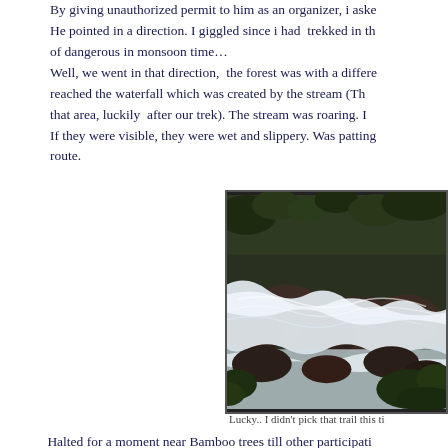By giving unauthorized permit to him as an organizer, i aske He pointed in a direction. I giggled since i had trekked in th of dangerous in monsoon time… Well, we went in that direction, the forest was with a differe reached the waterfall which was created by the stream (Th that area, luckily after our trek). The stream was roaring. I If they were visible, they were wet and slippery. Was patting route.
[Figure (photo): A roaring mountain stream with white water rushing over and around large dark rocks, surrounded by green forest vegetation. The water appears turbulent and fast-moving.]
Lucky.. I didn't pick that trail this ti
Halted for a moment near Bamboo trees till other participati be it was the leftover food we had in our luggage. Everyone completely or not. Realized that if we delay or if something found a right in that place without food. Decided t...